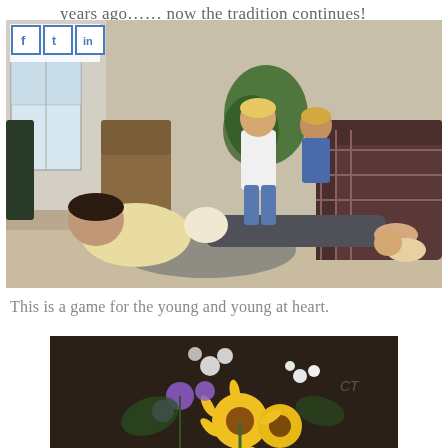years ago…… now the tradition continues!
[Figure (photo): Indoor living room scene with a man lying on the floor as children climb and jump on him near a plaid armchair. One child stands on a sofa cushion and another does a pushup. A fern plant is visible in the background.]
This is a game for the young and young at heart.
[Figure (photo): Close-up of a flower arrangement with sunflowers, purple flowers, and white flowers on a dark background.]